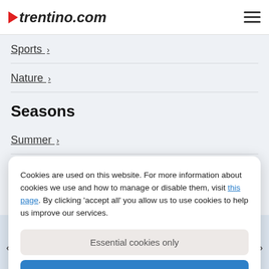trentino.com
Sports >
Nature >
Seasons
Summer >
Cookies are used on this website. For more information about cookies we use and how to manage or disable them, visit this page. By clicking 'accept all' you allow us to use cookies to help us improve our services.
Essential cookies only
Accept all
Val di Fiemme and Val di Fassa cycling track >
Adler Hotel
A wellness paradise in the heart of Trentino